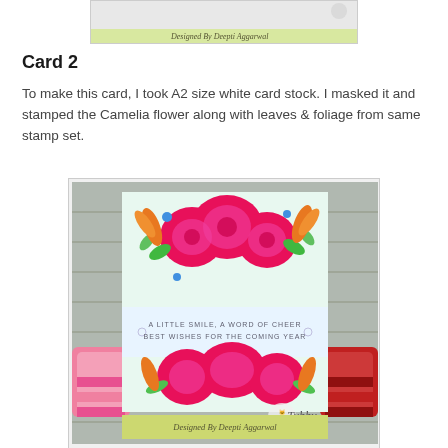[Figure (photo): Top portion of a handmade card with 'Designed By Deepti Aggarwal' label, partially visible at top of page]
Card 2
To make this card, I took A2 size white card stock. I masked it  and stamped the Camelia flower along with leaves & foliage from same stamp set.
[Figure (photo): Handmade card featuring pink Camelia flowers with green and orange foliage, blue accents, sentiment reading 'A LITTLE SMILE, A WORD OF CHEER BEST WISHES FOR THE COMING YEAR', ink pads on sides, 'Tubby' logo, 'Designed By Deepti Aggarwal' label at bottom]